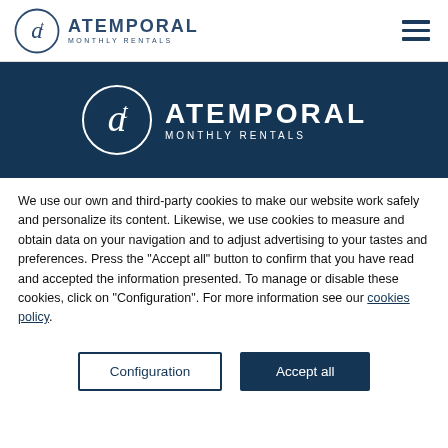[Figure (logo): Atemporal Monthly Rentals logo in header — circular emblem with stylized 'a' and 't' letterform, followed by text ATEMPORAL MONTHLY RENTALS]
[Figure (logo): Atemporal Monthly Rentals logo on dark navy banner — white circular emblem with stylized 'a' and 't' letterform, followed by white text ATEMPORAL MONTHLY RENTALS]
We use our own and third-party cookies to make our website work safely and personalize its content. Likewise, we use cookies to measure and obtain data on your navigation and to adjust advertising to your tastes and preferences. Press the "Accept all" button to confirm that you have read and accepted the information presented. To manage or disable these cookies, click on "Configuration". For more information see our cookies policy.